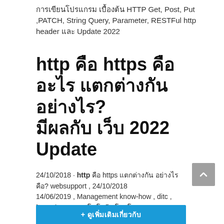การเขียนโปรแกรม เบื้องต้น HTTP Get, Post, Put ,PATCH, String Query, Parameter, RESTFul http header และ Update 2022
http คือ https คือ อะไร แตกต่างกันอย่างไร? มีผลกับ เว็บ 2022 Update
24/10/2018 · http คือ https แตกต่างกัน อย่างไร คือ? websupport , 24/10/2018 14/06/2019 , Management know-how , ditc , http , https , เทคโนโลยี , โปรโตคอล เว็บไซต์และโดเมน , การ ...